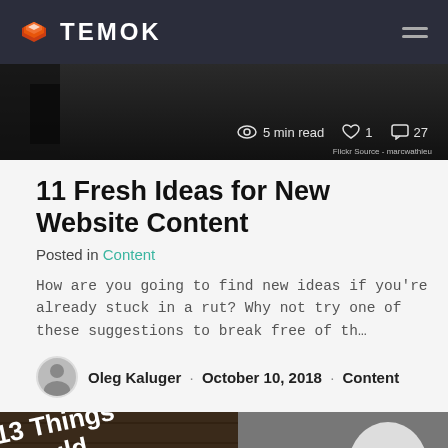TEMOK
[Figure (screenshot): Dark hero image strip showing reading stats: 5 min read, 1 like, 27 comments. Source: Flickr - marcwathieu]
11 Fresh Ideas for New Website Content
Posted in Content
How are you going to find new ideas if you're already stuck in a rut? Why not try one of these suggestions to break free of th...
Oleg Kaluger · October 10, 2018 · Content
[Figure (photo): Partial image showing text '13 Things Should fore' overlaid on a dark wood background, with a person in white on the right side]